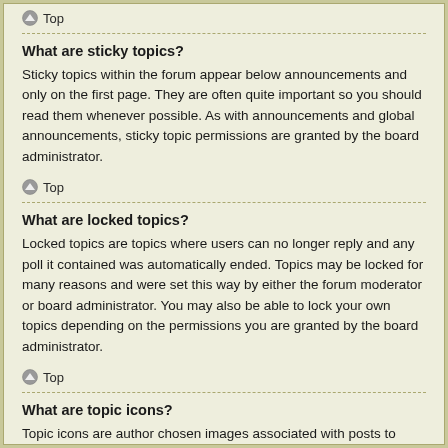Top
What are sticky topics?
Sticky topics within the forum appear below announcements and only on the first page. They are often quite important so you should read them whenever possible. As with announcements and global announcements, sticky topic permissions are granted by the board administrator.
Top
What are locked topics?
Locked topics are topics where users can no longer reply and any poll it contained was automatically ended. Topics may be locked for many reasons and were set this way by either the forum moderator or board administrator. You may also be able to lock your own topics depending on the permissions you are granted by the board administrator.
Top
What are topic icons?
Topic icons are author chosen images associated with posts to indicate their content. The ability to use topic icons depends on the permissions set by the board administrator.